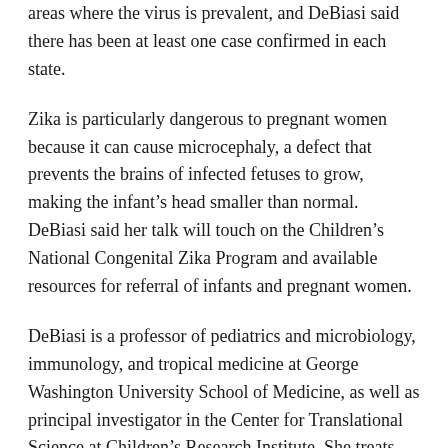areas where the virus is prevalent, and DeBiasi said there has been at least one case confirmed in each state.
Zika is particularly dangerous to pregnant women because it can cause microcephaly, a defect that prevents the brains of infected fetuses to grow, making the infant's head smaller than normal. DeBiasi said her talk will touch on the Children's National Congenital Zika Program and available resources for referral of infants and pregnant women.
DeBiasi is a professor of pediatrics and microbiology, immunology, and tropical medicine at George Washington University School of Medicine, as well as principal investigator in the Center for Translational Science at Children's Research Institute. She treats normal and immunocompromised children who are hospitalized with severe infections at Children's National Medical Center.